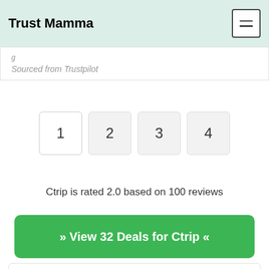Trust Mamma
Sourced from Trustpilot
1 2 3 4
Ctrip is rated 2.0 based on 100 reviews
» View 32 Deals for Ctrip «
Write A Review